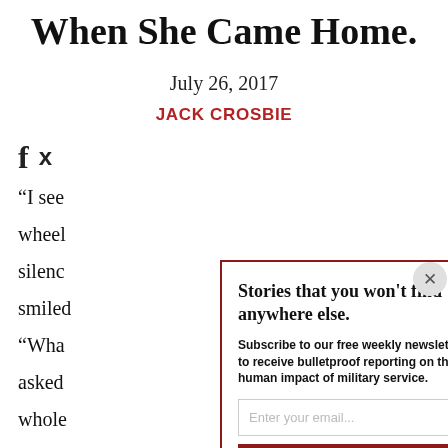When She Came Home.
July 26, 2017
JACK CROSBIE
“I see   wheel  silenc  smiled  “Wha  asked  whole  was a
Stories that you won't find anywhere else.

Subscribe to our free weekly newsletter to receive bulletproof reporting on the human impact of military service.

Enter your email...

SIGN UP

We will never sell or share your information with anyone.